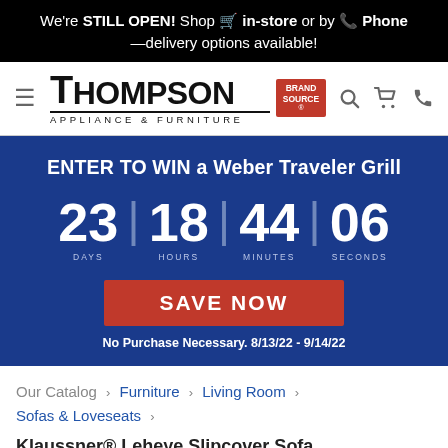We're STILL OPEN! Shop 🛒 in-store or by 📞 Phone —delivery options available!
[Figure (logo): Thompson Appliance & Furniture Brand Source logo with hamburger menu and navigation icons]
ENTER TO WIN a Weber Traveler Grill
23 DAYS | 18 HOURS | 44 MINUTES | 06 SECONDS
SAVE NOW
No Purchase Necessary. 8/13/22 - 9/14/22
Our Catalog › Furniture › Living Room › Sofas & Loveseats ›
Klaussner® Leheye Slipcover Sofa